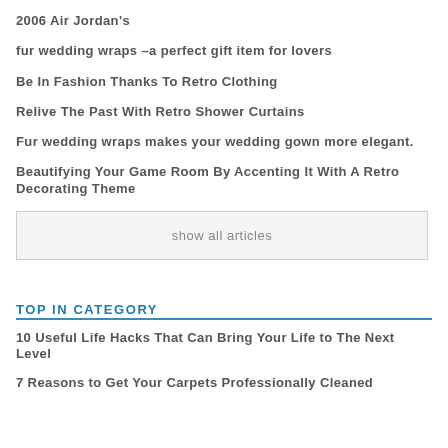2006 Air Jordan's
fur wedding wraps –a perfect gift item for lovers
Be In Fashion Thanks To Retro Clothing
Relive The Past With Retro Shower Curtains
Fur wedding wraps makes your wedding gown more elegant.
Beautifying Your Game Room By Accenting It With A Retro Decorating Theme
show all articles
TOP IN CATEGORY
10 Useful Life Hacks That Can Bring Your Life to The Next Level
7 Reasons to Get Your Carpets Professionally Cleaned